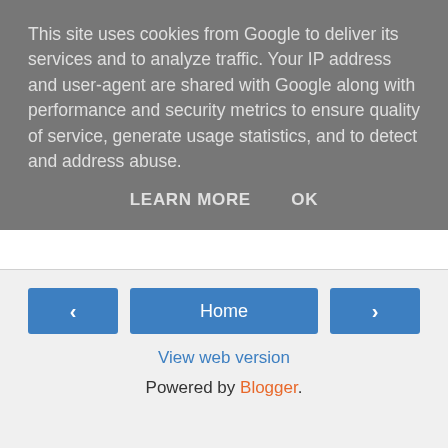This site uses cookies from Google to deliver its services and to analyze traffic. Your IP address and user-agent are shared with Google along with performance and security metrics to ensure quality of service, generate usage statistics, and to detect and address abuse.
LEARN MORE   OK
[Figure (photo): Black rectangular image placeholder]
Tadas Stankevicius at 11:54:00   No comments:
Share
‹   Home   ›
View web version
Powered by Blogger.